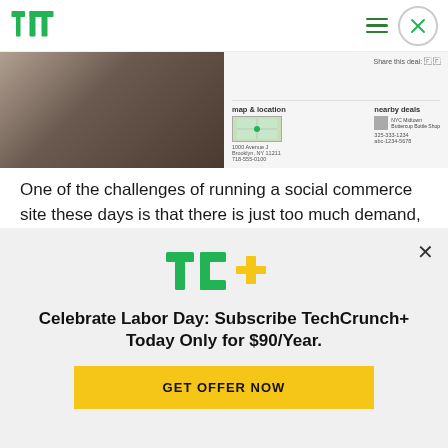TechCrunch TC logo with hamburger menu and close button
[Figure (screenshot): Screenshot of a social commerce/deals website showing map & location panel and nearby deals panel]
One of the challenges of running a social commerce site these days is that there is just too much demand, from both local merchants wanting to give out deals and consumers who want to try them. There are over 365 deal sites around the
[Figure (logo): TC+ logo - TechCrunch Plus logo in green and yellow]
Celebrate Labor Day: Subscribe TechCrunch+ Today Only for $90/Year.
GET OFFER NOW